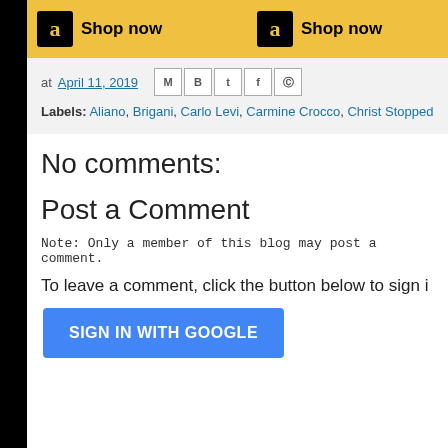[Figure (other): Amazon 'Shop now' advertisement banner with Amazon logo and yellow background, two instances visible]
at April 11, 2019  [share icons: M, B, T, f, pinterest]
Labels: Aliano, Brigani, Carlo Levi, Carmine Crocco, Christ Stopped at Eboli, 2019, Melfi, Monte Vulture, Pino Aprile, Rafaella Sacco
No comments:
Post a Comment
Note: Only a member of this blog may post a comment.
To leave a comment, click the button below to sign i
SIGN IN WITH GOOGLE